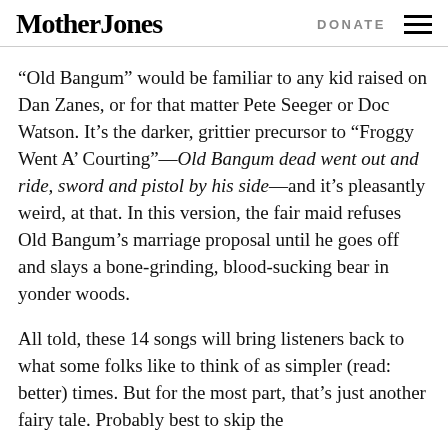Mother Jones | DONATE
“Old Bangum” would be familiar to any kid raised on Dan Zanes, or for that matter Pete Seeger or Doc Watson. It’s the darker, grittier precursor to “Froggy Went A’ Courting”—Old Bangum dead went out and ride, sword and pistol by his side—and it’s pleasantly weird, at that. In this version, the fair maid refuses Old Bangum’s marriage proposal until he goes off and slays a bone-grinding, blood-sucking bear in yonder woods.
All told, these 14 songs will bring listeners back to what some folks like to think of as simpler (read: better) times. But for the most part, that’s just another fairy tale. Probably best to skip the